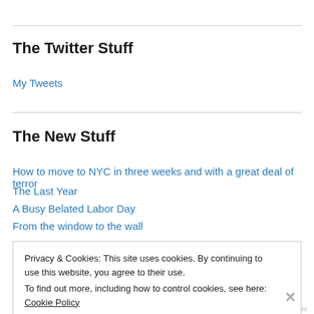The Twitter Stuff
My Tweets
The New Stuff
How to move to NYC in three weeks and with a great deal of terror
The Last Year
A Busy Belated Labor Day
From the window to the wall
Privacy & Cookies: This site uses cookies. By continuing to use this website, you agree to their use. To find out more, including how to control cookies, see here: Cookie Policy
Close and accept